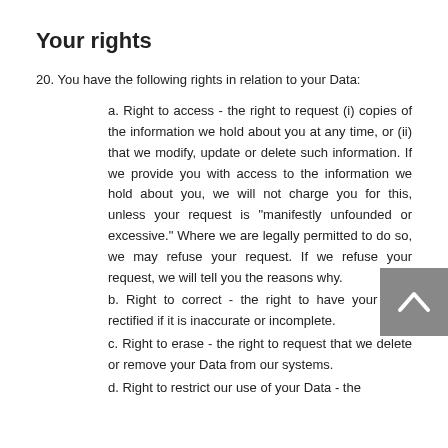Your rights
20. You have the following rights in relation to your Data:
a. Right to access - the right to request (i) copies of the information we hold about you at any time, or (ii) that we modify, update or delete such information. If we provide you with access to the information we hold about you, we will not charge you for this, unless your request is "manifestly unfounded or excessive." Where we are legally permitted to do so, we may refuse your request. If we refuse your request, we will tell you the reasons why.
b. Right to correct - the right to have your Data rectified if it is inaccurate or incomplete.
c. Right to erase - the right to request that we delete or remove your Data from our systems.
d. Right to restrict our use of your Data - the